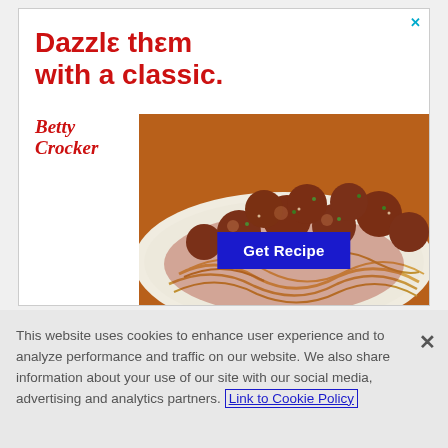[Figure (illustration): Betty Crocker advertisement showing spaghetti and meatballs on a white plate, with red headline text 'Dazzle them with a classic.' and Betty Crocker logo, along with a blue 'Get Recipe' button. A teal X close button is in the top right corner.]
This website uses cookies to enhance user experience and to analyze performance and traffic on our website. We also share information about your use of our site with our social media, advertising and analytics partners. Link to Cookie Policy